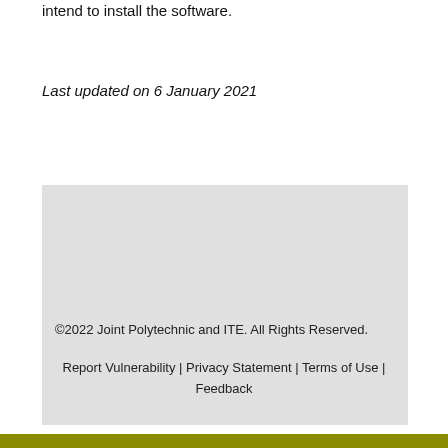intend to install the software.
Last updated on 6 January 2021
©2022 Joint Polytechnic and ITE. All Rights Reserved.
Report Vulnerability | Privacy Statement | Terms of Use | Feedback